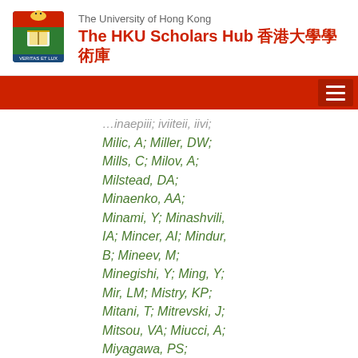The University of Hong Kong — The HKU Scholars Hub 香港大學學術庫
Milic, A; Miller, DW; Mills, C; Milov, A; Milstead, DA; Minaenko, AA; Minami, Y; Minashvili, IA; Mincer, AI; Mindur, B; Mineev, M; Minegishi, Y; Ming, Y; Mir, LM; Mistry, KP; Mitani, T; Mitrevski, J; Mitsou, VA; Miucci, A; Miyagawa, PS; Mizukami, A; Mjörnmark, JU; Mkrtchyan, T; Mlynarikova, M; Moa, T; Mochizuki, K; Mogg,